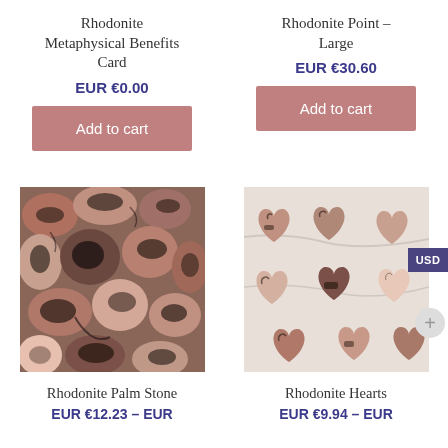Rhodonite Metaphysical Benefits Card
EUR €0.00
Add to cart
Rhodonite Point – Large
EUR €30.60
Add to cart
[Figure (photo): Rhodonite Palm Stone – multiple palm stones with pink and black coloring arranged together]
[Figure (photo): Rhodonite Hearts – multiple heart-shaped rhodonite stones with pink and black coloring on marble surface]
Rhodonite Palm Stone
EUR €12.23 – EUR
Rhodonite Hearts
EUR €9.94 – EUR